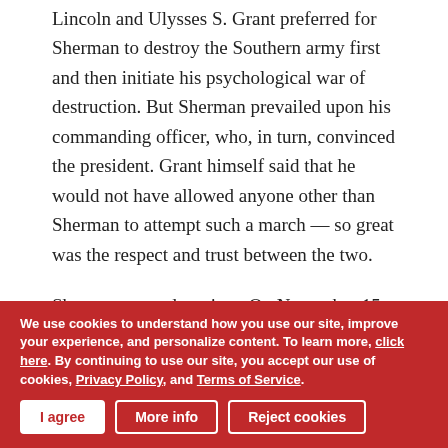Lincoln and Ulysses S. Grant preferred for Sherman to destroy the Southern army first and then initiate his psychological war of destruction. But Sherman prevailed upon his commanding officer, who, in turn, convinced the president. Grant himself said that he would not have allowed anyone other than Sherman to attempt such a march — so great was the respect and trust between the two.
Sherman wasted no time. On November 15, 62,000 men — split into two infantry wings (actually four parallel corps columns) with screening cavalry to protect the main bodies as they spread across the landscape — departed Atlanta. The city was hardly burned to the ground, as Gone with the Wind implies. Not all of the destruction was even Sherman's doing:
We use cookies to understand how you use our site, improve your experience, and personalize content. To learn more, click here. By continuing to use our site, you accept our use of cookies, Privacy Policy, and Terms of Service.